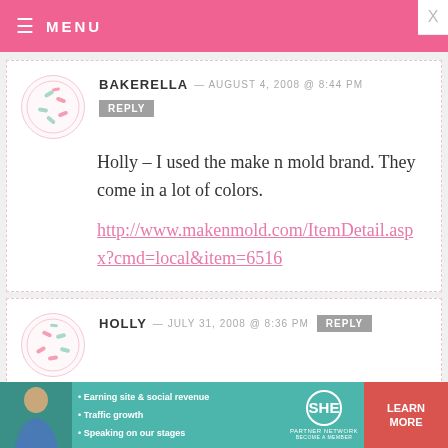MENU
BAKERELLA — AUGUST 4, 2008 @ 8:44 PM
REPLY

Holly – I used the make n mold brand. They come in a lot of colors.

http://www.makenmold.com/ItemDetail.aspx?cmd=local&item=6516
HOLLY — JULY 31, 2008 @ 8:36 PM
REPLY

Hi there. I am a big fan and long time
[Figure (infographic): SHE Partner Network advertisement banner with bullet points: Earning site & social revenue, Traffic growth, Speaking on our stages. Includes LEARN MORE button.]